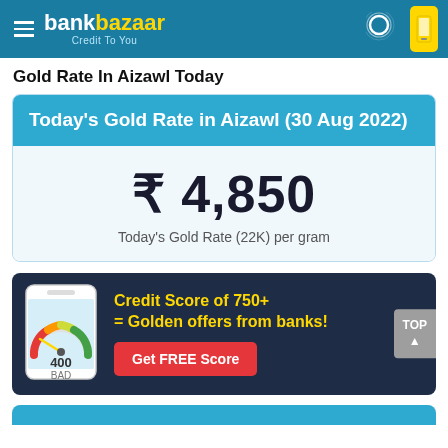bankbazaar Credit To You
Gold Rate In Aizawl Today
Today's Gold Rate in Aizawl (30 Aug 2022)
₹ 4,850
Today's Gold Rate (22K) per gram
[Figure (infographic): Credit score banner with phone showing gauge meter at 400 BAD, text: Credit Score of 750+ = Golden offers from banks!, Get FREE Score button]
Credit Score of 750+ = Golden offers from banks!
Get FREE Score